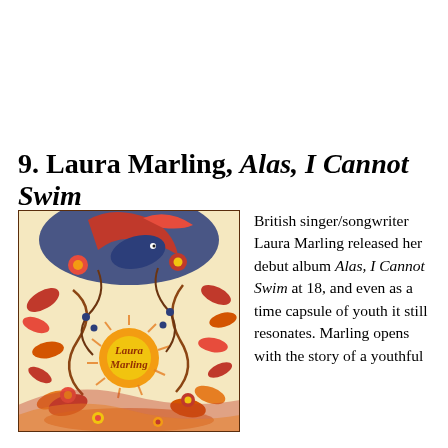9. Laura Marling, Alas, I Cannot Swim
[Figure (illustration): Album cover art for Laura Marling's 'Alas, I Cannot Swim' — a colorful, intricate folk-art style illustration featuring a bird, flowers, foliage, and swirling organic shapes in shades of red, orange, yellow, blue, and black. The artist's name 'Laura Marling' is written in the center of the image in a decorative script.]
British singer/songwriter Laura Marling released her debut album Alas, I Cannot Swim at 18, and even as a time capsule of youth it still resonates. Marling opens with the story of a youthful